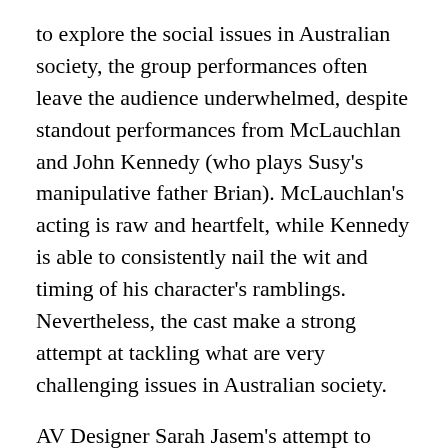to explore the social issues in Australian society, the group performances often leave the audience underwhelmed, despite standout performances from McLauchlan and John Kennedy (who plays Susy's manipulative father Brian). McLauchlan's acting is raw and heartfelt, while Kennedy is able to consistently nail the wit and timing of his character's ramblings. Nevertheless, the cast make a strong attempt at tackling what are very challenging issues in Australian society.
AV Designer Sarah Jasem's attempt to contextualise the play in the 1990s also flounders. A brilliant stage design separates the audience into 2 groups on opposite sides of Cellar, who view the action through thin black mesh to cleverly symbolise the